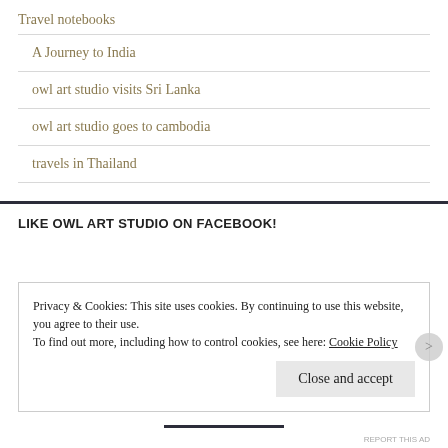Travel notebooks
A Journey to India
owl art studio visits Sri Lanka
owl art studio goes to cambodia
travels in Thailand
LIKE OWL ART STUDIO ON FACEBOOK!
Privacy & Cookies: This site uses cookies. By continuing to use this website, you agree to their use. To find out more, including how to control cookies, see here: Cookie Policy
Close and accept